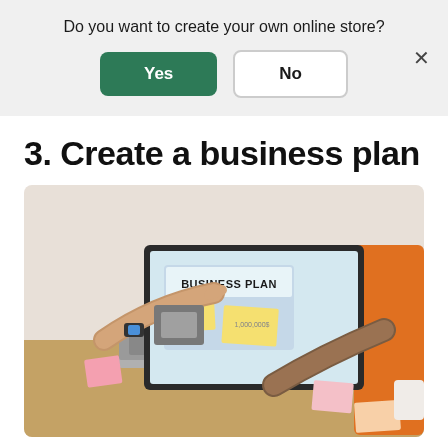Do you want to create your own online store?
Yes
No
3. Create a business plan
[Figure (photo): Person pointing at a laptop screen showing a 'BUSINESS PLAN' document with sticky notes on a wooden desk, with an orange chair in the background and a plant.]